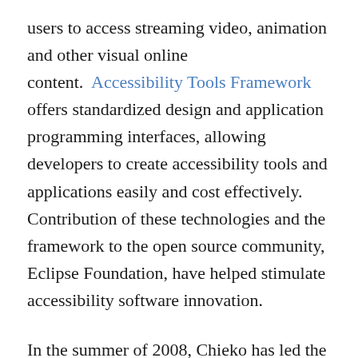users to access streaming video, animation and other visual online content. Accessibility Tools Framework offers standardized design and application programming interfaces, allowing developers to create accessibility tools and applications easily and cost effectively. Contribution of these technologies and the framework to the open source community, Eclipse Foundation, have helped stimulate accessibility software innovation.
In the summer of 2008, Chieko has led the Social Accessibility project. Based on collaboration software developed by her team, it creates an open, collaborative environment where blind users, developers and sighted "supporters" work together to solve real life Web accessibility issues raised by blind users. To explore ways to design a multimodal interface on mobile devices for use by the elderly, semiliterate or illiterate